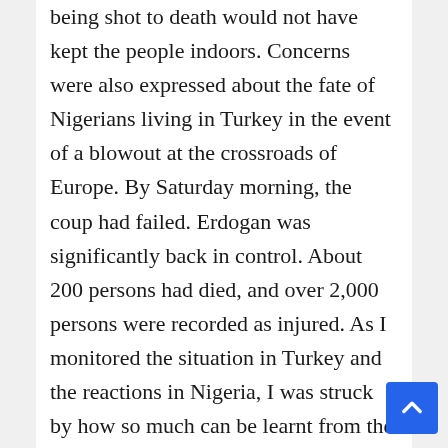being shot to death would not have kept the people indoors. Concerns were also expressed about the fate of Nigerians living in Turkey in the event of a blowout at the crossroads of Europe. By Saturday morning, the coup had failed. Erdogan was significantly back in control. About 200 persons had died, and over 2,000 persons were recorded as injured. As I monitored the situation in Turkey and the reactions in Nigeria, I was struck by how so much can be learnt from the strong interest that the failed coup attempt has generated among educated Nigerians.
Nigerians know what it means to have a constitutional order derailed by military intervention. Between 1960 and 1999, Nigeria moved from one form of military rule to another